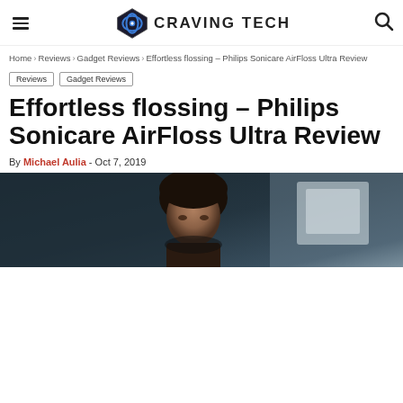CRAVING TECH
Home › Reviews › Gadget Reviews › Effortless flossing – Philips Sonicare AirFloss Ultra Review
Reviews
Gadget Reviews
Effortless flossing – Philips Sonicare AirFloss Ultra Review
By Michael Aulia - Oct 7, 2019
[Figure (photo): Hero image showing a person in a dark indoor setting, cropped to show head and upper body against a dark teal/slate background with a light-colored object to the right.]